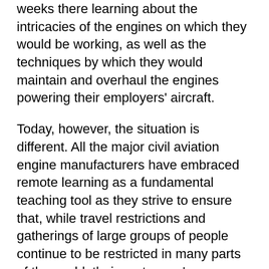weeks there learning about the intricacies of the engines on which they would be working, as well as the techniques by which they would maintain and overhaul the engines powering their employers' aircraft.
Today, however, the situation is different. All the major civil aviation engine manufacturers have embraced remote learning as a fundamental teaching tool as they strive to ensure that, while travel restrictions and gatherings of large groups of people continue to be restricted in many parts of the world, their customers' technicians continue to receive the maintenance training they need.
“GE Aviation has offered more remote learning opportunities since the pandemic,” says Shannon Korson, Senior Customer Service Manager. In pre-Covid times, “normally, aircraft and jet engine mechanics would travel to one of GE’s or CFM International’s training centers for hands-on learning.